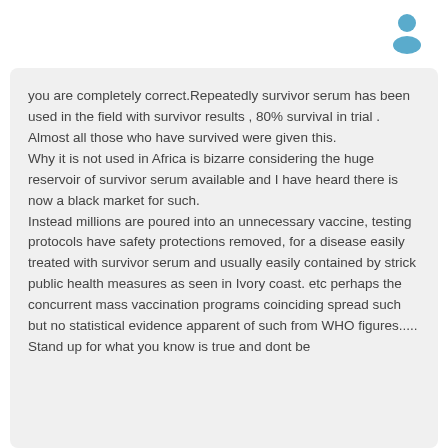[Figure (illustration): Blue user/person silhouette icon in the top right corner]
you are completely correct.Repeatedly survivor serum has been used in the field with survivor results , 80% survival in trial . Almost all those who have survived were given this.
Why it is not used in Africa is bizarre considering the huge reservoir of survivor serum available and I have heard there is now a black market for such.
Instead millions are poured into an unnecessary vaccine, testing protocols have safety protections removed, for a disease easily treated with survivor serum and usually easily contained by strick public health measures as seen in Ivory coast. etc perhaps the concurrent mass vaccination programs coinciding spread such but no statistical evidence apparent of such from WHO figures.....
Stand up for what you know is true and dont be